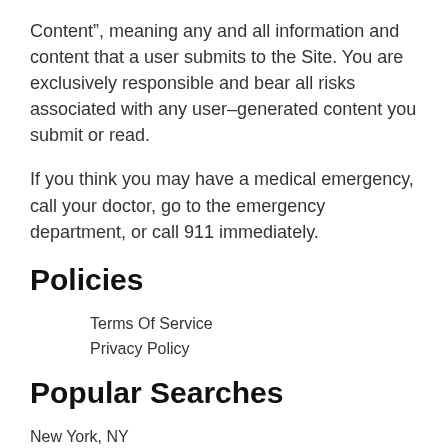Content”, meaning any and all information and content that a user submits to the Site. You are exclusively responsible and bear all risks associated with any user-generated content you submit or read.
If you think you may have a medical emergency, call your doctor, go to the emergency department, or call 911 immediately.
Policies
Terms Of Service
Privacy Policy
Popular Searches
New York, NY